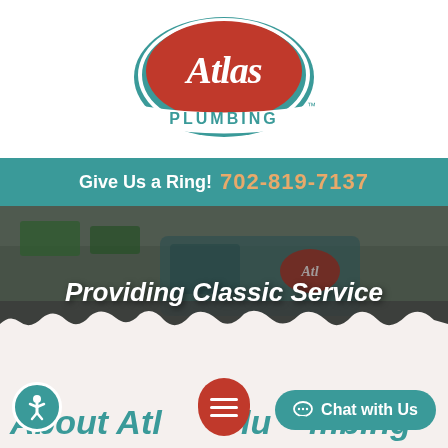[Figure (logo): Atlas Plumbing logo: red oval with white script 'Atlas' text, teal oval border, white banner with 'PLUMBING' text and TM mark]
Give Us a Ring! 702-819-7137
[Figure (photo): Background photo of Atlas Plumbing van on a Las Vegas street with hero overlay text 'Providing Classic Service']
Providing Classic Service
About Atlas Plumbing